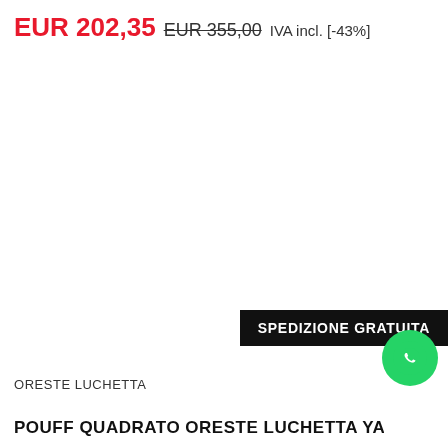EUR 202,35 EUR 355,00 IVA incl. [-43%]
SPEDIZIONE GRATUITA
ORESTE LUCHETTA
POUFF QUADRATO ORESTE LUCHETTA YANTRA GR... LC0033